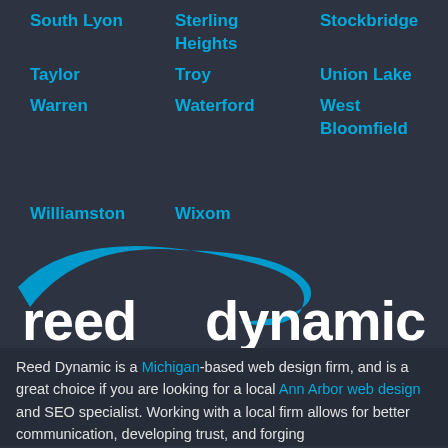South Lyon
Sterling Heights
Stockbridge
Taylor
Troy
Union Lake
Walled Lake
Warren
Waterford
West Bloomfield
White Lake
Whitmore Lake
Williamston
Wixom
[Figure (logo): Reed Dynamic logo with blue swoosh arc above white bold text 'reed dynamic']
Reed Dynamic is a Michigan-based web design firm, and is a great choice if you are looking for a local Ann Arbor web design and SEO specialist. Working with a local firm allows for better communication, developing trust, and forging